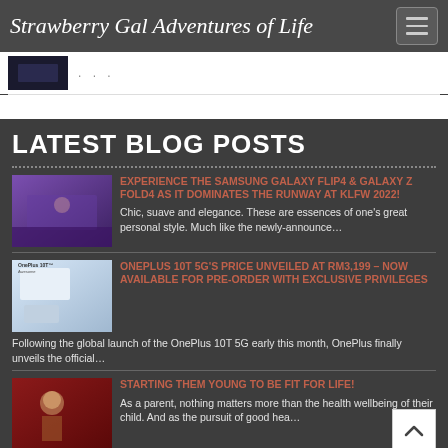Strawberry Gal Adventures of Life
[Figure (screenshot): Small dark thumbnail image in white strip]
LATEST BLOG POSTS
[Figure (photo): Thumbnail showing a purple-lit hall/runway event]
EXPERIENCE THE SAMSUNG GALAXY FLIP4 & GALAXY Z FOLD4 AS IT DOMINATES THE RUNWAY AT KLFW 2022!
Chic, suave and elegance. These are essences of one's great personal style. Much like the newly-announce…
[Figure (photo): OnePlus 10T 5G product thumbnail]
ONEPLUS 10T 5G'S PRICE UNVEILED AT RM3,199 – NOW AVAILABLE FOR PRE-ORDER WITH EXCLUSIVE PRIVILEGES
Following the global launch of the OnePlus 10T 5G early this month, OnePlus finally unveils the official…
[Figure (photo): Dark red-tinted event photo thumbnail]
STARTING THEM YOUNG TO BE FIT FOR LIFE!
As a parent, nothing matters more than the health wellbeing of their child. And as the pursuit of good hea…